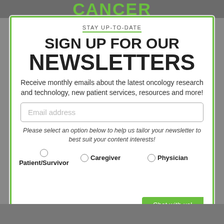CANCER
STAY UP-TO-DATE
SIGN UP FOR OUR NEWSLETTERS
Receive monthly emails about the latest oncology research and technology, new patient services, resources and more!
Email address
Please select an option below to help us tailor your newsletter to best suit your content interests!
Patient/Survivor
Caregiver
Physician
Chat with us!